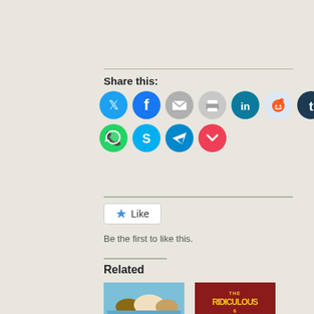Share this:
[Figure (infographic): Row of social media share icon buttons: Twitter (blue), Facebook (blue), Email (gray), Print (gray), LinkedIn (teal), Reddit (light blue), Tumblr (dark blue), Pinterest (red); second row: WhatsApp (green), Skype (blue), Telegram (teal), Pocket (red)]
[Figure (infographic): Like button with star icon, label 'Like']
Be the first to like this.
Related
[Figure (photo): Movie or infographic image showing cartoon dogs on blue background]
[Figure (photo): Movie poster for 'The Ridiculous 6' showing a cowboy]